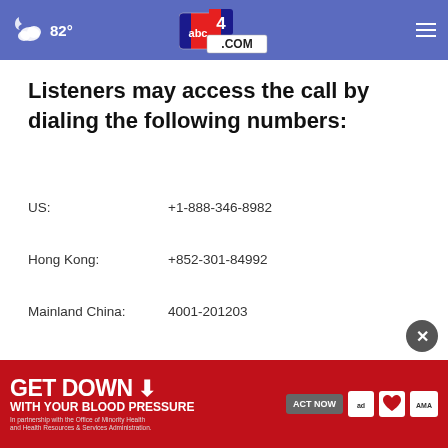82° abc4.com
Listeners may access the call by dialing the following numbers:
US: +1-888-346-8982
Hong Kong: +852-301-84992
Mainland China: 4001-201203
International: +1-412-902-4272
[Figure (infographic): GET DOWN WITH YOUR BLOOD PRESSURE advertisement banner with ACT NOW button, ad council logo, American Heart Association logo, and AMA logo]